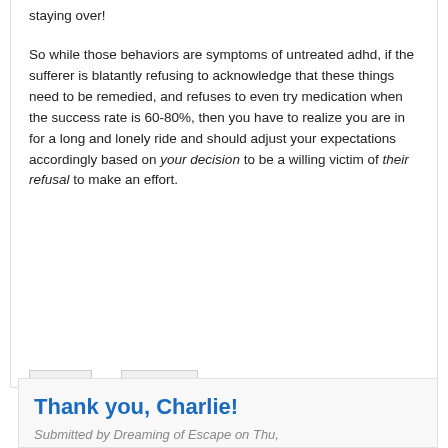staying over!
So while those behaviors are symptoms of untreated adhd, if the sufferer is blatantly refusing to acknowledge that these things need to be remedied, and refuses to even try medication when the success rate is 60-80%, then you have to realize you are in for a long and lonely ride and should adjust your expectations accordingly based on your decision to be a willing victim of their refusal to make an effort.
log in or register to post comments
Thank you, Charlie!
Submitted by Dreaming of Escape on Thu,